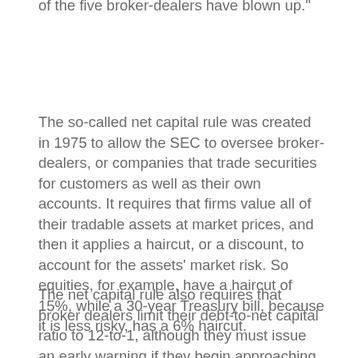"The proof is in the pudding" — three of the five broker-dealers have blown up."
The so-called net capital rule was created in 1975 to allow the SEC to oversee broker-dealers, or companies that trade securities for customers as well as their own accounts. It requires that firms value all of their tradable assets at market prices, and then it applies a haircut, or a discount, to account for the assets' market risk. So equities, for example, have a haircut of 15%, while a 30-year Treasury bill, because it is less risky, has a 6% haircut.
The net capital rule also requires that broker dealers limit their debt-to-net capital ratio to 12-to-1, although they must issue an early warning if they begin approaching this limit, and are